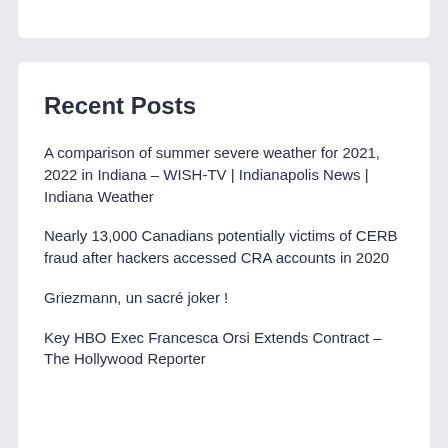Recent Posts
A comparison of summer severe weather for 2021, 2022 in Indiana – WISH-TV | Indianapolis News | Indiana Weather
Nearly 13,000 Canadians potentially victims of CERB fraud after hackers accessed CRA accounts in 2020
Griezmann, un sacré joker !
Key HBO Exec Francesca Orsi Extends Contract – The Hollywood Reporter